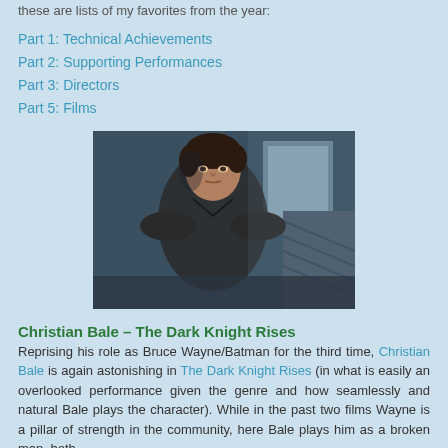these are lists of my favorites from the year:
Part 1: Technical Achievements
Part 2: Supporting Performances
Part 3: Directors
Part 5: Films
[Figure (photo): A man in a black v-neck shirt standing indoors near a staircase, looking serious. The lighting is dim and bluish.]
Christian Bale – The Dark Knight Rises
Reprising his role as Bruce Wayne/Batman for the third time, Christian Bale is again astonishing in The Dark Knight Rises (in what is easily an overlooked performance given the genre and how seamlessly and natural Bale plays the character). While in the past two films Wayne is a pillar of strength in the community, here Bale plays him as a broken man, both